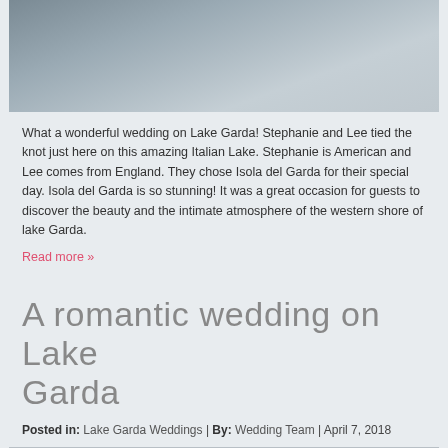[Figure (photo): Couple embracing on a balcony overlooking Lake Garda, bride in white dress, groom in dark suit]
What a wonderful wedding on Lake Garda! Stephanie and Lee tied the knot just here on this amazing Italian Lake. Stephanie is American and Lee comes from England. They chose Isola del Garda for their special day. Isola del Garda is so stunning! It was a great occasion for guests to discover the beauty and the intimate atmosphere of the western shore of lake Garda.
Read more »
A romantic wedding on Lake Garda
Posted in: Lake Garda Weddings | By: Wedding Team | April 7, 2018
[Figure (photo): Bottom portion of a wedding photo at Lake Garda, partially visible]